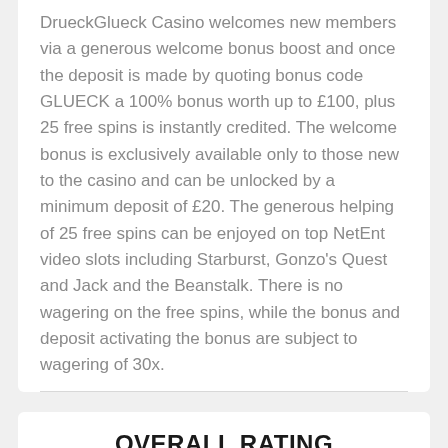DrueckGlueck Casino welcomes new members via a generous welcome bonus boost and once the deposit is made by quoting bonus code GLUECK a 100% bonus worth up to £100, plus 25 free spins is instantly credited. The welcome bonus is exclusively available only to those new to the casino and can be unlocked by a minimum deposit of £20. The generous helping of 25 free spins can be enjoyed on top NetEnt video slots including Starburst, Gonzo's Quest and Jack and the Beanstalk. There is no wagering on the free spins, while the bonus and deposit activating the bonus are subject to wagering of 30x.
OVERALL RATING